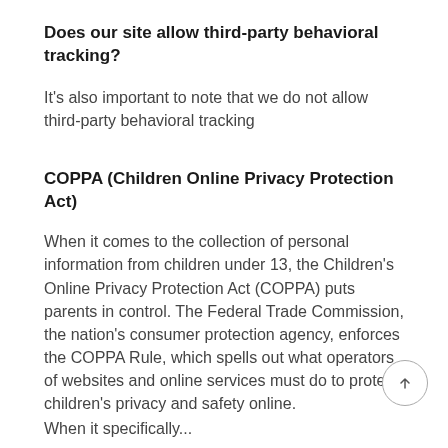Does our site allow third-party behavioral tracking?
It’s also important to note that we do not allow third-party behavioral tracking
COPPA (Children Online Privacy Protection Act)
When it comes to the collection of personal information from children under 13, the Children’s Online Privacy Protection Act (COPPA) puts parents in control. The Federal Trade Commission, the nation’s consumer protection agency, enforces the COPPA Rule, which spells out what operators of websites and online services must do to protect children’s privacy and safety online.
When it specifically...